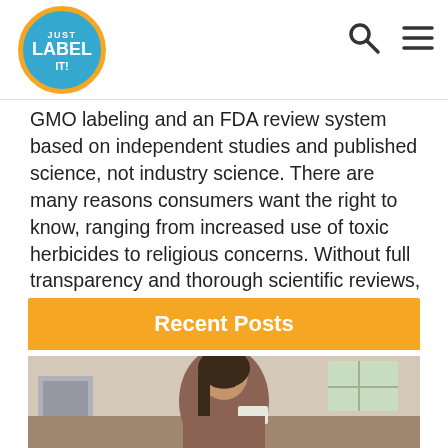Just Label It — site header with logo and navigation icons
GMO labeling and an FDA review system based on independent studies and published science, not industry science. There are many reasons consumers want the right to know, ranging from increased use of toxic herbicides to religious concerns. Without full transparency and thorough scientific reviews, it should be no surprise that consumers have safety concerns about consuming GMOs.
Recent Posts
[Figure (photo): Woman reading a food label in a kitchen setting]